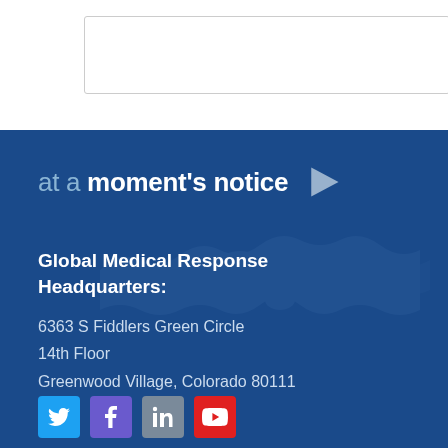[Figure (other): Empty bordered box at top of page, white background with light gray border]
at a moment's notice
Global Medical Response Headquarters:
6363 S Fiddlers Green Circle
14th Floor
Greenwood Village, Colorado 80111
[Figure (other): Social media icons row: Twitter (blue), Facebook (purple), LinkedIn (gray), YouTube (red)]